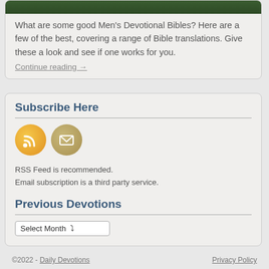[Figure (photo): Dark green foliage image at the top of the card]
What are some good Men's Devotional Bibles? Here are a few of the best, covering a range of Bible translations. Give these a look and see if one works for you.
Continue reading →
Subscribe Here
[Figure (infographic): RSS feed icon (orange circle) and email/envelope icon (tan circle)]
RSS Feed is recommended.
Email subscription is a third party service.
Previous Devotions
Select Month
©2022 - Daily Devotions    Privacy Policy